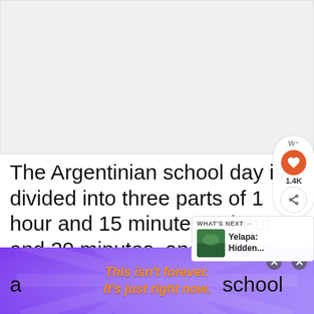[Figure (other): Top advertisement placeholder area (gray/white blank ad space)]
The Argentinian school day is divided into three parts of 1 hour and 15 minutes, 1 hour and 20 minutes, and 2 hours. Between them are 10-15 minute breaks. Since is in the morning, we don't have a lunch break. Normally, we buy snacks like biscuits, a school
[Figure (screenshot): Bottom advertisement banner with purple/violet burst background and orange italic text reading 'This isn't forever. It's just right now.' with close X buttons]
[Figure (infographic): Right-side UI overlay with heart (1.4K likes) and share button, and 'What's Next' card showing Yelapa: Hidden... article]